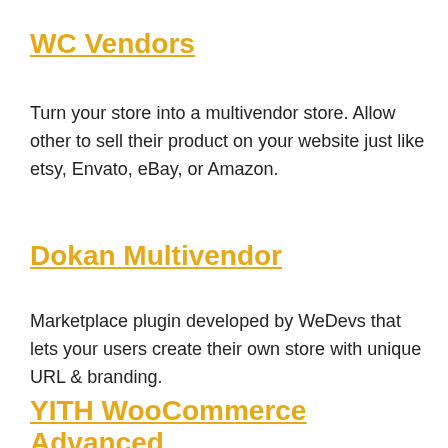WC Vendors
Turn your store into a multivendor store. Allow other to sell their product on your website just like etsy, Envato, eBay, or Amazon.
Dokan Multivendor
Marketplace plugin developed by WeDevs that lets your users create their own store with unique URL & branding.
YITH WooCommerce Advanced